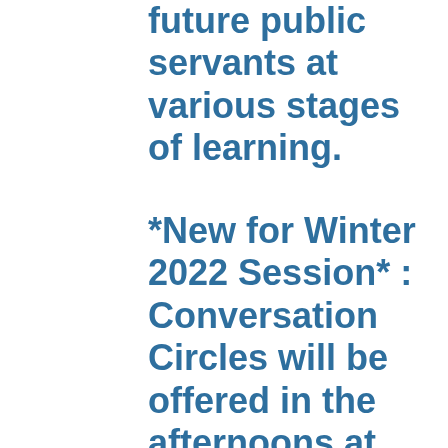future public servants at various stages of learning.
*New for Winter 2022 Session* : Conversation Circles will be offered in the afternoons at the Beginner, Intermediate,